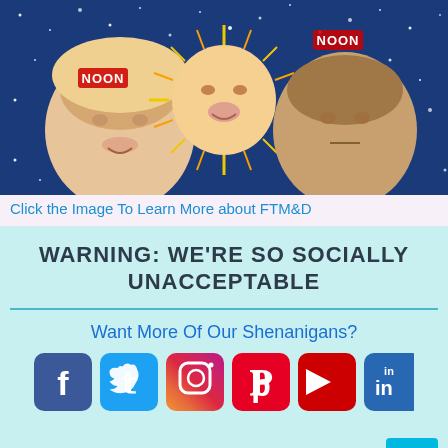[Figure (photo): Banner image with three faces (woman, baby, older man) on a blue starry background with 'NOON' text labels and yellow starburst effects]
Click the Image To Learn More about FTM&D
WARNING: WE'RE SO SOCIALLY UNACCEPTABLE
[Figure (infographic): Row of social media icons: Facebook, Twitter, Instagram, Pinterest, YouTube, LinkedIn]
Want More Of Our Shenanigans?
WE WON!